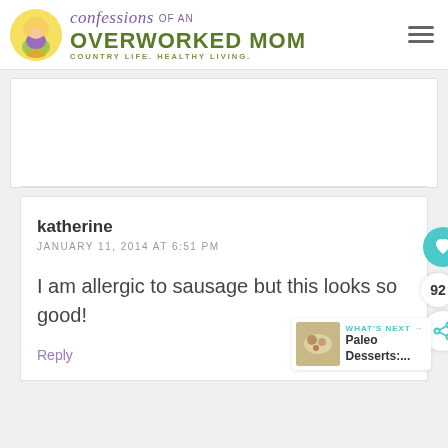confessions OF AN OVERWORKED MOM — COUNTRY LIFE. HEALTHY LIVING.
katherine
JANUARY 11, 2014 AT 6:51 PM

I am allergic to sausage but this looks so good!

Reply
WHAT'S NEXT → Paleo Desserts:....